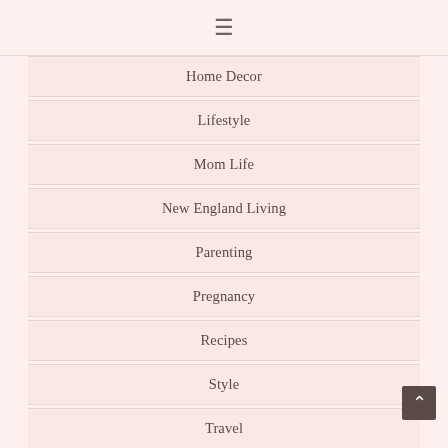≡
Home Decor
Lifestyle
Mom Life
New England Living
Parenting
Pregnancy
Recipes
Style
Travel
Uncategorized